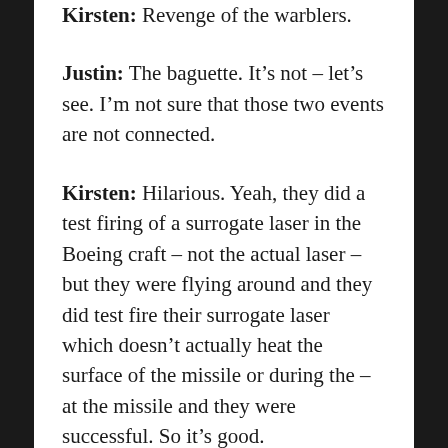Kirsten: Revenge of the warblers.
Justin: The baguette. It’s not – let’s see. I’m not sure that those two events are not connected.
Kirsten: Hilarious. Yeah, they did a test firing of a surrogate laser in the Boeing craft – not the actual laser – but they were flying around and they did test fire their surrogate laser which doesn’t actually heat the surface of the missile or during the – at the missile and they were successful. So it’s good.
Justin: So I guess my prediction was right because I said they will hit it with a laser